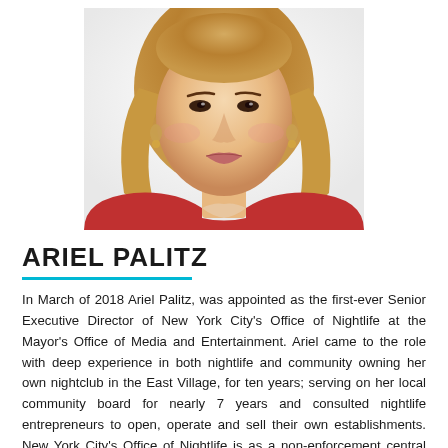[Figure (photo): Headshot photo of Ariel Palitz, a woman with shoulder-length blonde/light brown wavy hair, wearing earrings and a red top, photographed against a white background]
ARIEL PALITZ
In March of 2018 Ariel Palitz, was appointed as the first-ever Senior Executive Director of New York City's Office of Nightlife at the Mayor's Office of Media and Entertainment. Ariel came to the role with deep experience in both nightlife and community owning her own nightclub in the East Village, for ten years; serving on her local community board for nearly 7 years and consulted nightlife entrepreneurs to open, operate and sell their own establishments. New York City's Office of Nightlife is as a non-enforcement central point of contact